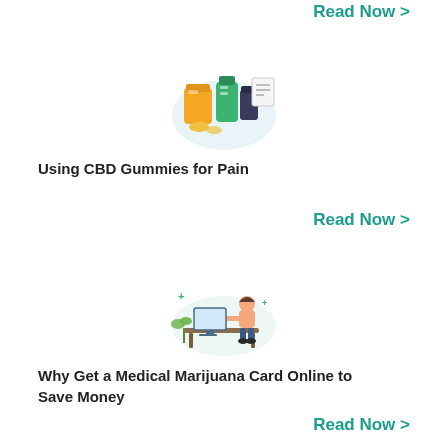Read Now >
[Figure (illustration): Illustration of CBD gummies and medicine bottles with coins]
Using CBD Gummies for Pain
Read Now >
[Figure (illustration): Illustration of a person sitting at a desk with medical marijuana card related icons]
Why Get a Medical Marijuana Card Online to Save Money
Read Now >